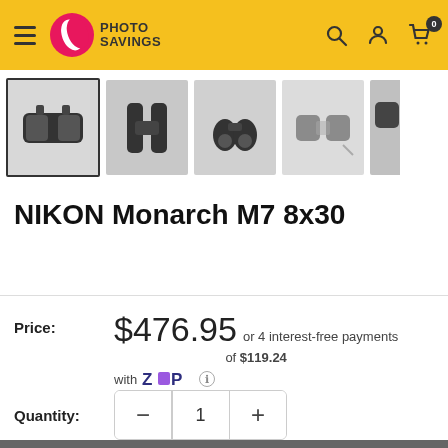Photo Savings
[Figure (photo): Product thumbnail images of NIKON Monarch M7 8x30 binoculars from multiple angles]
NIKON Monarch M7 8x30
Price: $476.95 or 4 interest-free payments of $119.24 with Zip
Quantity: 1